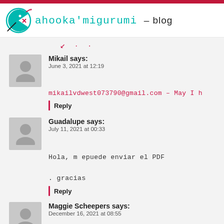ahooka'migurumi – blog
mikailvdwest073790@gmail.com – May I h…
Mikail says:
June 3, 2021 at 12:19
Reply
Guadalupe says:
July 11, 2021 at 00:33
Hola, m epuede enviar el PDF
. gracias
Reply
Maggie Scheepers says:
December 16, 2021 at 08:55
Hi busy crochet for my grand kids they…